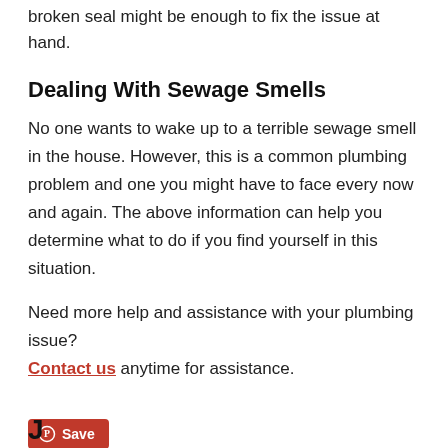broken seal might be enough to fix the issue at hand.
Dealing With Sewage Smells
No one wants to wake up to a terrible sewage smell in the house. However, this is a common plumbing problem and one you might have to face every now and again. The above information can help you determine what to do if you find yourself in this situation.
Need more help and assistance with your plumbing issue? Contact us anytime for assistance.
[Figure (other): Pinterest Save button with red background and white text]
J... (partial text cut off at bottom)